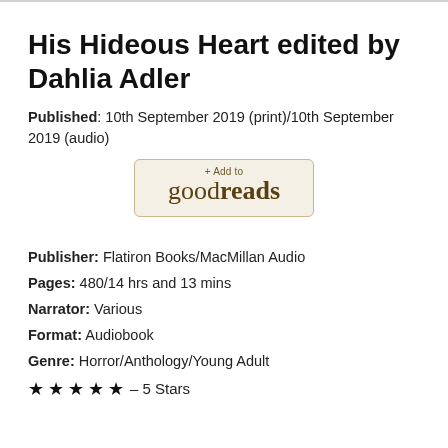His Hideous Heart edited by Dahlia Adler
Published: 10th September 2019 (print)/10th September 2019 (audio)
[Figure (other): Goodreads '+Add to goodreads' button]
Publisher: Flatiron Books/MacMillan Audio
Pages: 480/14 hrs and 13 mins
Narrator: Various
Format: Audiobook
Genre: Horror/Anthology/Young Adult
★ ★ ★ ★ ★ – 5 Stars